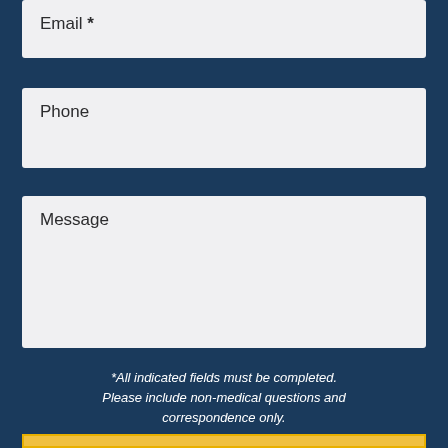Email *
Phone
Message
*All indicated fields must be completed. Please include non-medical questions and correspondence only.